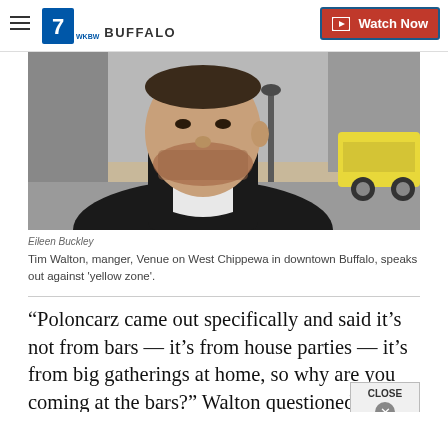7 WKBW BUFFALO | Watch Now
[Figure (photo): Man with beard and gold chain necklace wearing black hoodie and white t-shirt, photographed on a city street with a yellow car visible in the background]
Eileen Buckley
Tim Walton, manger, Venue on West Chippewa in downtown Buffalo, speaks out against 'yellow zone'.
“Poloncarz came out specifically and said it’s not from bars — it’s from house parties — it's from big gatherings at home, so why are you coming at the bars?” Walton questioned.